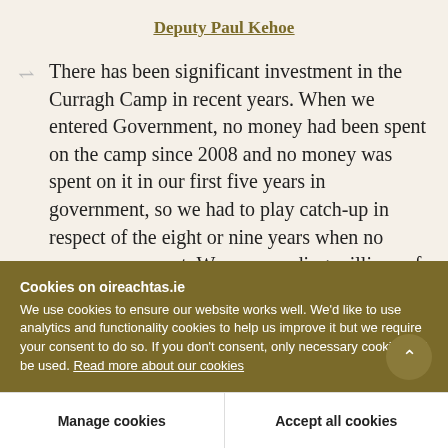Deputy Paul Kehoe
There has been significant investment in the Curragh Camp in recent years. When we entered Government, no money had been spent on the camp since 2008 and no money was spent on it in our first five years in government, so we had to play catch-up in respect of the eight or nine years when no money was spent. We are spending millions of euro on the Curragh Camp to upgrade its facilities
Cookies on oireachtas.ie
We use cookies to ensure our website works well. We'd like to use analytics and functionality cookies to help us improve it but we require your consent to do so. If you don't consent, only necessary cookies will be used. Read more about our cookies
Manage cookies
Accept all cookies